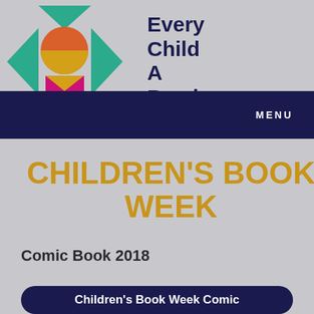[Figure (logo): Every Child A Reader logo with geometric eye shapes in teal, a circle in orange/gold, and a magenta bookmark/person shape below]
Every Child A Reader
MENU
CHILDREN'S BOOK WEEK
Comic Book 2018
Children's Book Week Comic